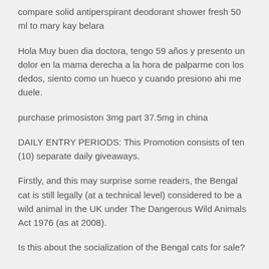compare solid antiperspirant deodorant shower fresh 50 ml to mary kay belara
Hola Muy buen dia doctora, tengo 59 años y presento un dolor en la mama derecha a la hora de palparme con los dedos, siento como un hueco y cuando presiono ahi me duele.
purchase primosiston 3mg part 37.5mg in china
DAILY ENTRY PERIODS: This Promotion consists of ten (10) separate daily giveaways.
Firstly, and this may surprise some readers, the Bengal cat is still legally (at a technical level) considered to be a wild animal in the UK under The Dangerous Wild Animals Act 1976 (as at 2008).
Is this about the socialization of the Bengal cats for sale?
Remember, keep this and all other medicines out of the reach of children, and never share medicines with others, as this